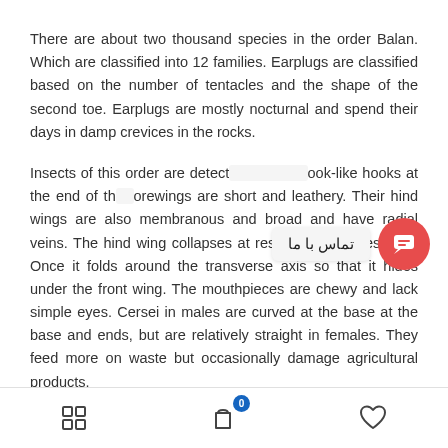There are about two thousand species in the order Balan. Which are classified into 12 families. Earplugs are classified based on the number of tentacles and the shape of the second toe. Earplugs are mostly nocturnal and spend their days in damp crevices in the rocks.
Insects of this order are detected by pair hook-like hooks at the end of the forewings are short and leathery. Their hind wings are also membranous and broad and have radial veins. The hind wing collapses at rest like a Japanese fan. Once it folds around the transverse axis so that it hides under the front wing. The mouthpieces are chewy and lack simple eyes. Cersei in males are curved at the base at the base and ends, but are relatively straight in females. They feed more on waste but occasionally damage agricultural products.
[Figure (infographic): Bottom navigation bar with grid/apps icon on left, shopping bag icon with badge '0' in center, and heart/wishlist icon on right]